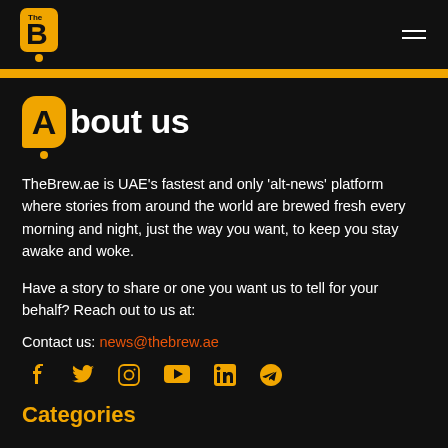The Brew - TheBrew.ae
About us
TheBrew.ae is UAE's fastest and only 'alt-news' platform where stories from around the world are brewed fresh every morning and night, just the way you want, to keep you stay awake and woke.
Have a story to share or one you want us to tell for your behalf? Reach out to us at:
Contact us: news@thebrew.ae
[Figure (other): Social media icons row: Facebook, Twitter, Instagram, YouTube, LinkedIn, Telegram]
Categories